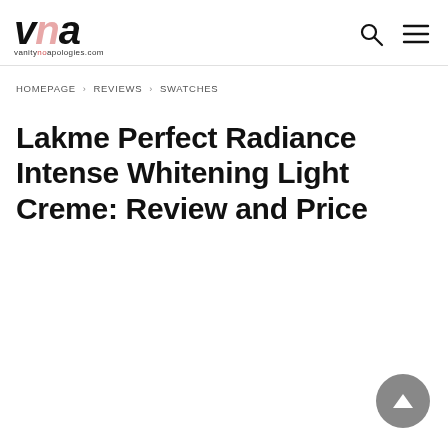vanityNOapologies.com
HOMEPAGE > REVIEWS > SWATCHES
Lakme Perfect Radiance Intense Whitening Light Creme: Review and Price